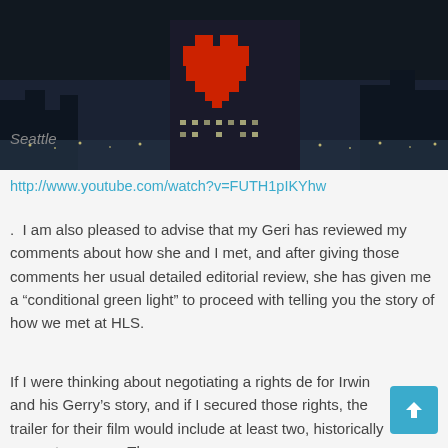[Figure (photo): Nighttime city skyline with a large red heart illuminated on a building, surrounded by city lights.]
Seattle
http://www.youtube.com/watch?v=FUTH1pIKYhw
. I am also pleased to advise that my Geri has reviewed my comments about how she and I met, and after giving those comments her usual detailed editorial review, she has given me a “conditional green light” to proceed with telling you the story of how we met at HLS.
If I were thinking about negotiating a rights de for Irwin and his Gerry’s story, and if I secured those rights, the trailer for their film would include at least two, historically accurate scenes. The